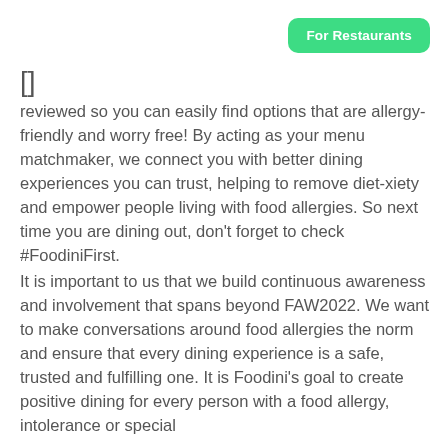For Restaurants
[]
reviewed so you can easily find options that are allergy-friendly and worry free! By acting as your menu matchmaker, we connect you with better dining experiences you can trust, helping to remove diet-xiety and empower people living with food allergies. So next time you are dining out, don't forget to check #FoodiniFirst.
It is important to us that we build continuous awareness and involvement that spans beyond FAW2022. We want to make conversations around food allergies the norm and ensure that every dining experience is a safe, trusted and fulfilling one. It is Foodini's goal to create positive dining for every person with a food allergy, intolerance or special